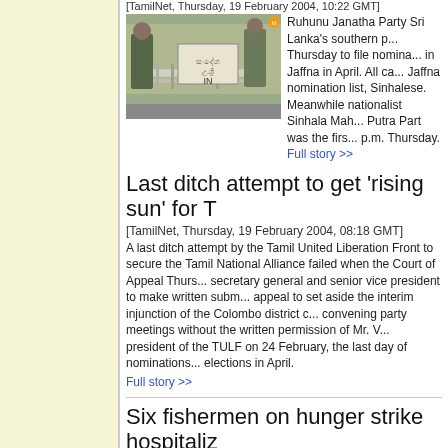[TamilNet, Thursday, 19 February 2004, 10:22 GMT]
[Figure (photo): Photo of soldiers or guards standing behind metal barricades, outdoors near a building]
Ruhunu Janatha Party Sri Lanka's southern p... Thursday to file nomina... in Jaffna in April. All ca... Jaffna nomination list, Sinhalese. Meanwhile nationalist Sinhala Mah... Putra Part was the firs... p.m. Thursday.
Full story >>
Last ditch attempt to get 'rising sun' for T
[TamilNet, Thursday, 19 February 2004, 08:18 GMT]
A last ditch attempt by the Tamil United Liberation Front to secure the Tamil National Alliance failed when the Court of Appeal Thurs... secretary general and senior vice president to make written subm... appeal to set aside the interim injunction of the Colombo district c... convening party meetings without the written permission of Mr. V... president of the TULF on 24 February, the last day of nominations... elections in April.
Full story >>
Six fishermen on hunger strike hospitaliz
[TamilNet, Wednesday, 18 February 2004, 18:03 GMT]
Seven of the sixty seven Indian boatmen who are on fast unto de... Monday were admitted at the Jaffna teaching hospital Wednesda... due to dehydration, medical sources said.
Full story >>
Legal wrangle forces TNA to choose "H... election symbol
[TamilNet, Wednesday, 18 February 2004, 15:30 GMT]
The Tamil National Alliance (TNA) has made alternate arrangeme...